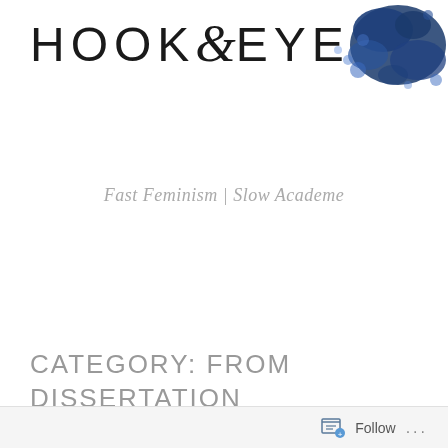[Figure (logo): Hook & Eye blog logo with stylized ampersand and blue ink splat watercolor in top right corner]
Fast Feminism | Slow Academe
[Figure (screenshot): Grey navigation menu button with dashed border and hamburger icon reading MENU]
CATEGORY: FROM DISSERTATION TO BOOK
Follow ...